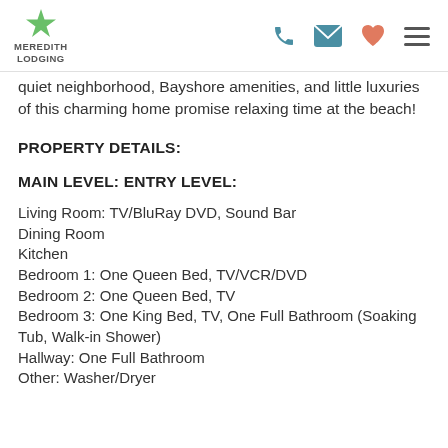MEREDITH LODGING
quiet neighborhood, Bayshore amenities, and little luxuries of this charming home promise relaxing time at the beach!
PROPERTY DETAILS:
MAIN LEVEL: ENTRY LEVEL:
Living Room: TV/BluRay DVD, Sound Bar
Dining Room
Kitchen
Bedroom 1: One Queen Bed, TV/VCR/DVD
Bedroom 2: One Queen Bed, TV
Bedroom 3: One King Bed, TV, One Full Bathroom (Soaking Tub, Walk-in Shower)
Hallway: One Full Bathroom
Other: Washer/Dryer